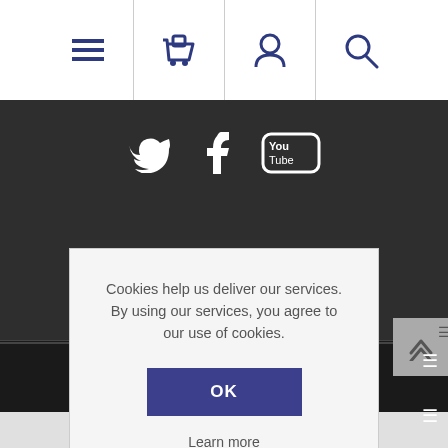[Figure (screenshot): Navigation bar with hamburger menu, shopping basket, user profile, and search icons in dark blue on white background]
[Figure (screenshot): Dark background section with Twitter, Facebook, and YouTube social media icons in white]
Cookies help us deliver our services. By using our services, you agree to our use of cookies.
OK
Learn more
CONTACT THE BOOKSHOP